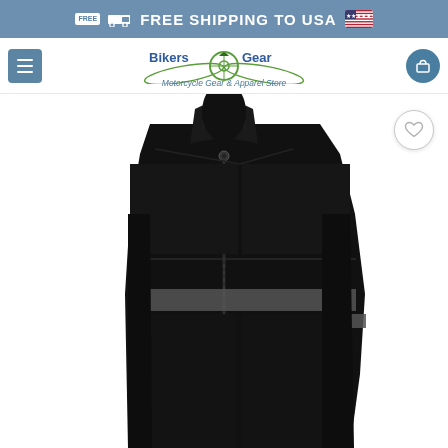FREE SHIPPING TO USA 🇺🇸
[Figure (logo): Bikers Gear logo with motorcycle graphic and text 'Motorcycle Gear & Apparel Store']
[Figure (photo): Black motorcycle textile jacket displayed on a mannequin, showing reflective grey stripe across chest and on sleeve, full zip front with snap collar]